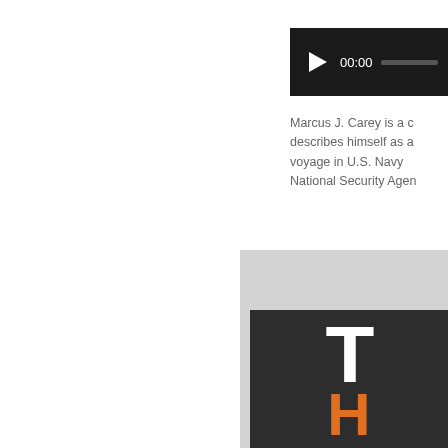[Figure (screenshot): Audio player widget with dark background, play button triangle, time display showing 00:00, and a progress/seek bar in gray.]
Marcus J. Carey is a c describes himself as a voyage in U.S. Navy  National Security Agen
[Figure (logo): Partial logo image on light gray background showing large white letter T and orange letter H on a dark charcoal rectangle, cropped at right edge.]